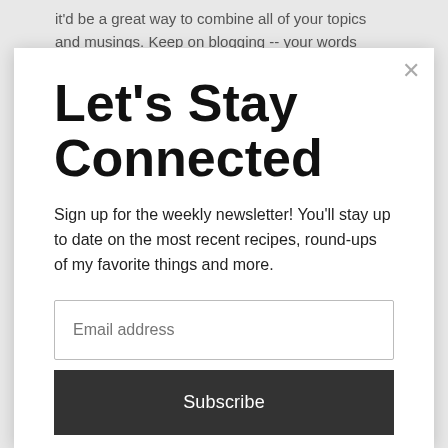it'd be a great way to combine all of your topics and musings. Keep on blogging -- your words matter!
Let's Stay Connected
Sign up for the weekly newsletter! You'll stay up to date on the most recent recipes, round-ups of my favorite things and more.
Email address
Subscribe
Reply
Shannon Benson